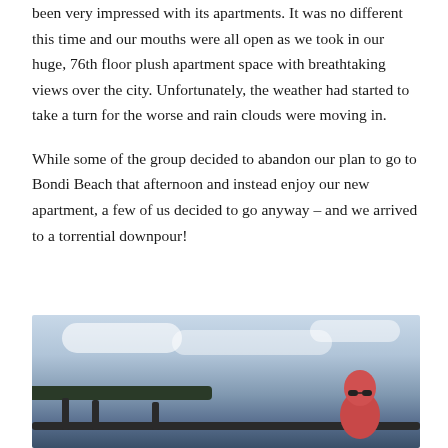been very impressed with its apartments. It was no different this time and our mouths were all open as we took in our huge, 76th floor plush apartment space with breathtaking views over the city. Unfortunately, the weather had started to take a turn for the worse and rain clouds were moving in.

While some of the group decided to abandon our plan to go to Bondi Beach that afternoon and instead enjoy our new apartment, a few of us decided to go anyway – and we arrived to a torrential downpour!
[Figure (photo): Photo of a person at Bondi Beach during stormy weather, dark clouds overhead, with a view of the coastline and a railing in the foreground.]